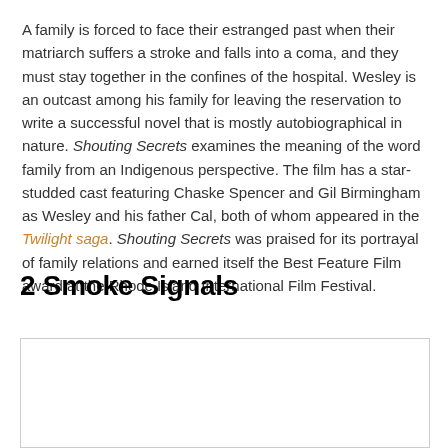A family is forced to face their estranged past when their matriarch suffers a stroke and falls into a coma, and they must stay together in the confines of the hospital. Wesley is an outcast among his family for leaving the reservation to write a successful novel that is mostly autobiographical in nature. Shouting Secrets examines the meaning of the word family from an Indigenous perspective. The film has a star-studded cast featuring Chaske Spencer and Gil Birmingham as Wesley and his father Cal, both of whom appeared in the Twilight saga. Shouting Secrets was praised for its portrayal of family relations and earned itself the Best Feature Film award at the Rhode Island International Film Festival.
2 Smoke Signals
[Figure (photo): Empty white image box with border]